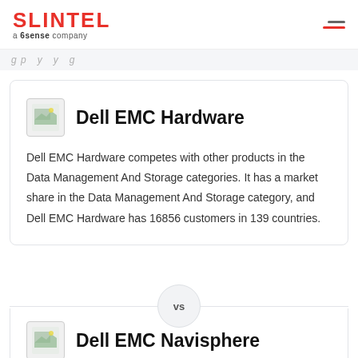SLINTEL a 6sense company
g p y y g
Dell EMC Hardware
Dell EMC Hardware competes with other products in the Data Management And Storage categories. It has a market share in the Data Management And Storage category, and Dell EMC Hardware has 16856 customers in 139 countries.
vs
Dell EMC Navisphere